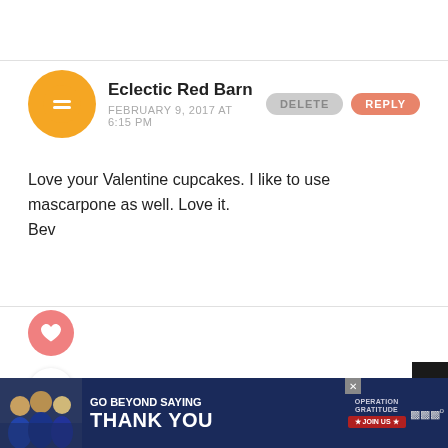[Figure (screenshot): Blog comment section screenshot showing Eclectic Red Barn commenter with Blogger avatar, DELETE and REPLY buttons, comment text about Valentine cupcakes and mascarpone, heart and share icons, a What's Next preview for The Recipe for The Best..., and a second comment from Theresa with an Operation Gratitude advertisement banner at the bottom.]
Eclectic Red Barn
FEBRUARY 9, 2017 AT 6:15 PM
Love your Valentine cupcakes. I like to use mascarpone as well. Love it.
Bev
WHAT'S NEXT →
The Recipe for The Best...
Theresa
FEBRUARY 9, 2017 AT 8:55 PM
GO BEYOND SAYING THANK YOU